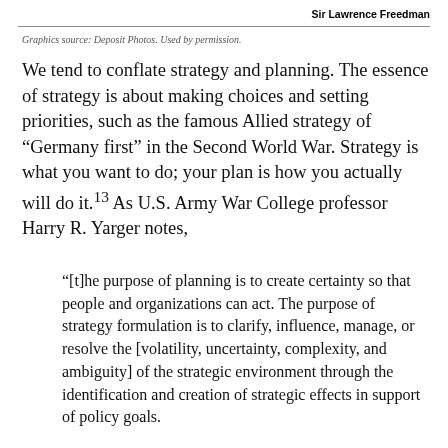Sir Lawrence Freedman
Graphics source: Deposit Photos. Used by permission.
We tend to conflate strategy and planning. The essence of strategy is about making choices and setting priorities, such as the famous Allied strategy of “Germany first” in the Second World War. Strategy is what you want to do; your plan is how you actually will do it.¹³ As U.S. Army War College professor Harry R. Yarger notes,
“[t]he purpose of planning is to create certainty so that people and organizations can act. The purpose of strategy formulation is to clarify, influence, manage, or resolve the [volatility, uncertainty, complexity, and ambiguity] of the strategic environment through the identification and creation of strategic effects in support of policy goals.